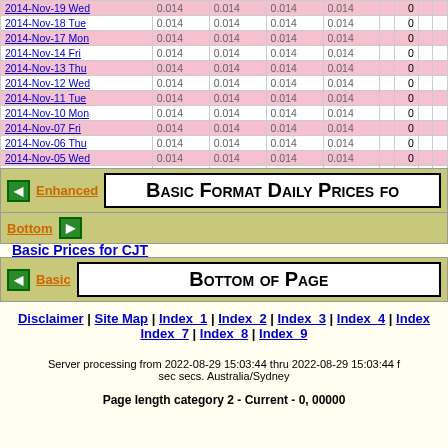| Date | Open | High | Low | Close | Volume |
| --- | --- | --- | --- | --- | --- |
| 2014-Nov-19 Wed | 0.014 | 0.014 | 0.014 | 0.014 | 0 |
| 2014-Nov-18 Tue | 0.014 | 0.014 | 0.014 | 0.014 | 0 |
| 2014-Nov-17 Mon | 0.014 | 0.014 | 0.014 | 0.014 | 0 |
| 2014-Nov-14 Fri | 0.014 | 0.014 | 0.014 | 0.014 | 0 |
| 2014-Nov-13 Thu | 0.014 | 0.014 | 0.014 | 0.014 | 0 |
| 2014-Nov-12 Wed | 0.014 | 0.014 | 0.014 | 0.014 | 0 |
| 2014-Nov-11 Tue | 0.014 | 0.014 | 0.014 | 0.014 | 0 |
| 2014-Nov-10 Mon | 0.014 | 0.014 | 0.014 | 0.014 | 0 |
| 2014-Nov-07 Fri | 0.014 | 0.014 | 0.014 | 0.014 | 0 |
| 2014-Nov-06 Thu | 0.014 | 0.014 | 0.014 | 0.014 | 0 |
| 2014-Nov-05 Wed | 0.014 | 0.014 | 0.014 | 0.014 | 0 |
| 2014-Nov-04 Tue | 0.014 | 0.014 | 0.014 | 0.014 | 0 |
| 2014-Nov-03 Mon | 0.014 | 0.014 | 0.014 | 0.014 | 0 |
| 2014-Oct-31 Fri | 0.014 | 0.014 | 0.014 | 0.014 | 0 |
| 2014-Oct-30 Thu | 0.014 | 0.014 | 0.014 | 0.014 | 0 |
Basic Format Daily Prices fo...
Enhanced | Bottom
Basic Prices for CJT
Bottom of Page
Basic
Disclaimer | Site Map | Index_1 | Index_2 | Index_3 | Index_4 | Index... | Index_7 | Index_8 | Index_9
Server processing from 2022-08-29 15:03:44 thru 2022-08-29 15:03:44 f... sec secs. Australia/Sydney
Page length category 2 - Current - 0, 00000